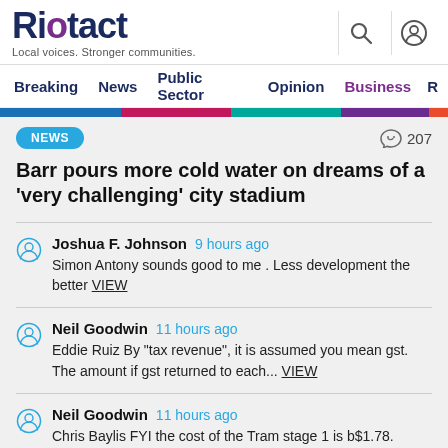Riotact — Local voices. Stronger communities.
Breaking  News  Public Sector  Opinion  Business  R
[Figure (infographic): Horizontal color bar strip: blue, magenta/pink, teal, purple, orange-red sections]
NEWS  207
Barr pours more cold water on dreams of a 'very challenging' city stadium
Joshua F. Johnson  9 hours ago
Simon Antony sounds good to me . Less development the better VIEW
Neil Goodwin  11 hours ago
Eddie Ruiz By "tax revenue", it is assumed you mean gst. The amount if gst returned to each... VIEW
Neil Goodwin  11 hours ago
Chris Baylis FYI the cost of the Tram stage 1 is b$1.78.